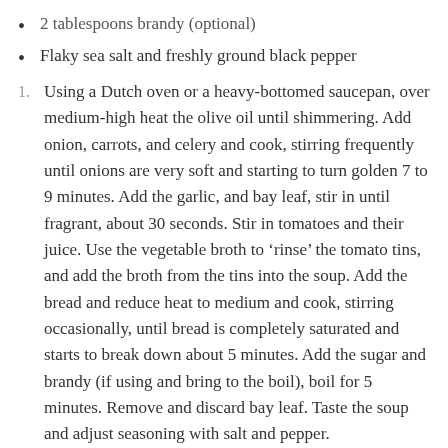2 tablespoons brandy (optional)
Flaky sea salt and freshly ground black pepper
1. Using a Dutch oven or a heavy-bottomed saucepan, over medium-high heat the olive oil until shimmering. Add onion, carrots, and celery and cook, stirring frequently until onions are very soft and starting to turn golden 7 to 9 minutes. Add the garlic, and bay leaf, stir in until fragrant, about 30 seconds. Stir in tomatoes and their juice. Use the vegetable broth to ‘rinse’ the tomato tins, and add the broth from the tins into the soup. Add the bread and reduce heat to medium and cook, stirring occasionally, until bread is completely saturated and starts to break down about 5 minutes. Add the sugar and brandy (if using and bring to the boil), boil for 5 minutes. Remove and discard bay leaf. Taste the soup and adjust seasoning with salt and pepper.
2. If half of the soup fills your blender by more than two-thirds, process the soup in the dutch oven. You can use a